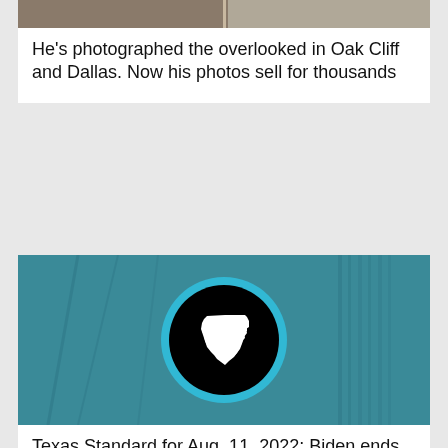[Figure (photo): Partial view of a black and white photograph at the top of the page]
He's photographed the overlooked in Oak Cliff and Dallas. Now his photos sell for thousands
[Figure (logo): Texas Standard logo: black circle with blue ring containing white Texas state silhouette, on teal background with microphone]
Texas Standard for Aug. 11, 2022: Biden ends ‘Remain in Mexico’ immigration policy